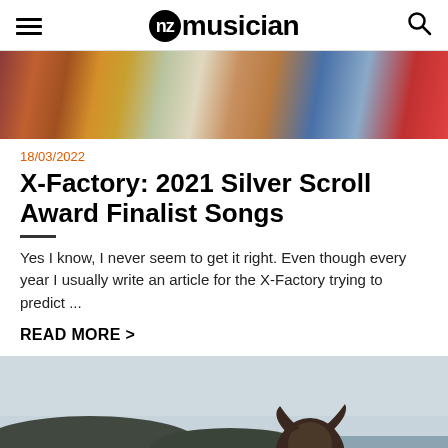NZ musician
[Figure (photo): Top cropped image of colorful patterned artwork or clothing with vibrant reds, oranges, blues and earth tones]
18/03/2022
X-Factory: 2021 Silver Scroll Award Finalist Songs
Yes I know, I never seem to get it right. Even though every year I usually write an article for the X-Factory trying to predict ...
READ MORE >
[Figure (photo): Bottom photo showing a person with long dark hair in front of a body of water with hills in the background under an overcast sky]